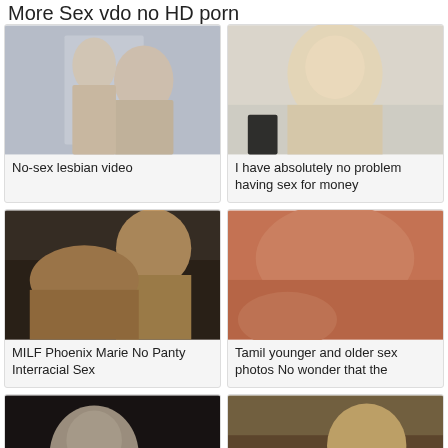More Sex vdo no HD porn
[Figure (photo): Two women in a bright white room]
No-sex lesbian video
[Figure (photo): Blonde woman looking at camera]
I have absolutely no problem having sex for money
[Figure (photo): Blonde woman on dark couch]
MILF Phoenix Marie No Panty Interracial Sex
[Figure (photo): Close up flesh tones]
Tamil younger and older sex photos No wonder that the
[Figure (photo): White-haired person dark scene]
[Figure (photo): Blonde woman on couch]